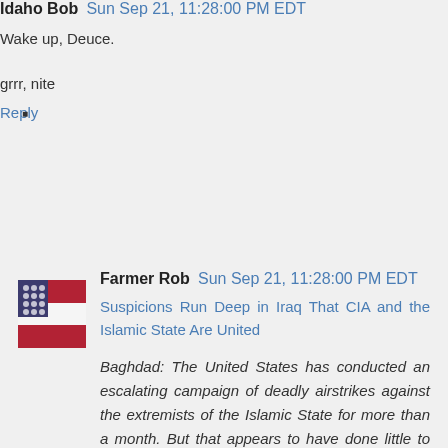Idaho Bob  Sun Sep 21, 11:28:00 PM EDT
Wake up, Deuce.

grrr, nite
Reply
[Figure (photo): Small avatar image showing a flag-themed graphic for user Farmer Rob]
Farmer Rob  Sun Sep 21, 11:28:00 PM EDT
Suspicions Run Deep in Iraq That CIA and the Islamic State Are United
Baghdad: The United States has conducted an escalating campaign of deadly airstrikes against the extremists of the Islamic State for more than a month. But that appears to have done little to tamp down the conspiracy theories still circulating from the streets of Baghdad to the highest levels of Iraqi government that the CIA is secretly behind the same extremists that it is now attacking.